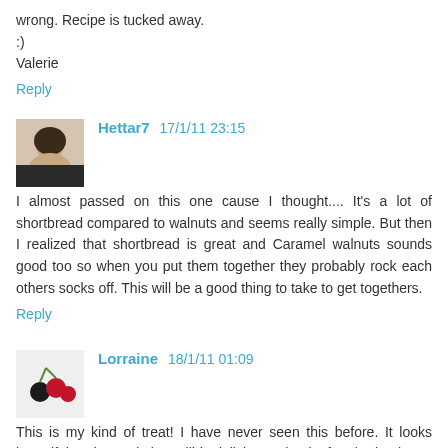wrong. Recipe is tucked away.
:)
Valerie
Reply
Hettar7  17/1/11 23:15
I almost passed on this one cause I thought.... It's a lot of shortbread compared to walnuts and seems really simple. But then I realized that shortbread is great and Caramel walnuts sounds good too so when you put them together they probably rock each others socks off. This will be a good thing to take to get togethers.
Reply
Lorraine  18/1/11 01:09
This is my kind of treat! I have never seen this before. It looks beautiful and sounds incredibly delicious. Thanks for sharing it. My family is sure to love it:)
Reply